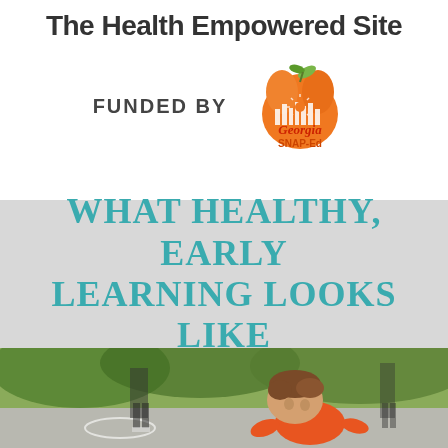The Health Empowered Site
FUNDED BY
[Figure (logo): Georgia SNAP-Ed logo: an orange peach with a city skyline and sunburst inside, with 'Georgia SNAP-Ed' text in orange and red]
WHAT HEALTHY, EARLY LEARNING LOOKS LIKE
[Figure (photo): A young toddler with brown hair wearing an orange shirt, bending down outdoors on a paved surface. Blurred green trees and a person in black pants in the background.]